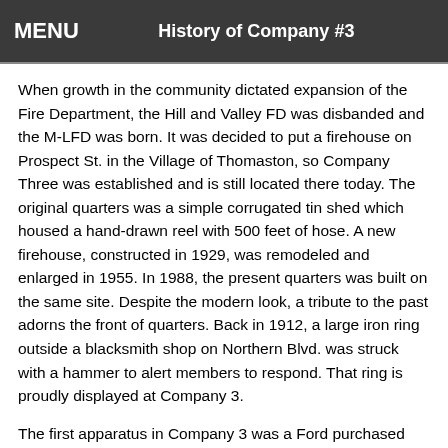MENU   History of Company #3
When growth in the community dictated expansion of the Fire Department, the Hill and Valley FD was disbanded and the M-LFD was born. It was decided to put a firehouse on Prospect St. in the Village of Thomaston, so Company Three was established and is still located there today. The original quarters was a simple corrugated tin shed which housed a hand-drawn reel with 500 feet of hose. A new firehouse, constructed in 1929, was remodeled and enlarged in 1955. In 1988, the present quarters was built on the same site. Despite the modern look, a tribute to the past adorns the front of quarters. Back in 1912, a large iron ring outside a blacksmith shop on Northern Blvd. was struck with a hammer to alert members to respond. That ring is proudly displayed at Company 3.
The first apparatus in Company 3 was a Ford purchased from the Douglaston Fire Company in 1917. A truck with flood lights was bought in 1933. The first rescue rig came in 1957. Today’s fleet is state of the art. Rescue 8730, is a 2019 KME Resuce Pumper. 8735 is a 2000 KME and 8733 is a 1989 Boardman; both are 1500 GPM pumpers. These apparatus get quite a workout; Co. 3 responds on a regular basis with